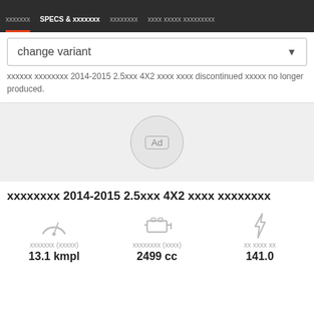xxxxxxx  SPECS & xxxxxxx  xxxxxxxx  xxxx xxxxx xxxxxxxxx
change variant
xxxxxx xxxxxxxx 2014-2015 2.5xxx 4X2 xxxx xxxx discontinued xxxxx no longer produced.
[Figure (other): Ad placeholder circle with 'Ad' label]
xxxxxxxx 2014-2015 2.5xxx 4X2 xxxx xxxxxxxx
| xxxxxxx (xxxxx) | xxxxxxxx (xxxx) | xx xxxx xx |
| --- | --- | --- |
| 13.1 kmpl | 2499 cc | 141.0 |